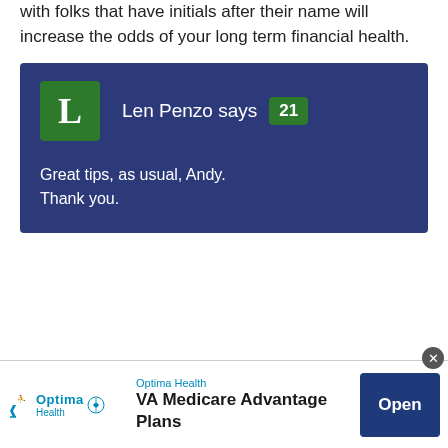with folks that have initials after their name will increase the odds of your long term financial health.
[Figure (screenshot): Comment block with dark blue background. Avatar: green box with white letter L. Commenter: 'Len Penzo says' with green badge showing '21'. Comment text: 'Great tips, as usual, Andy. Thank you.']
[Figure (other): Advertisement banner for Optima Health VA Medicare Advantage Plans with Open button.]